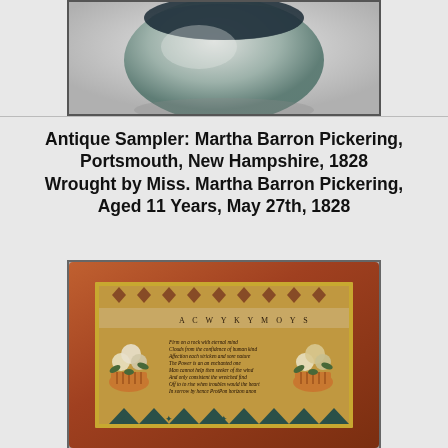[Figure (photo): Photograph of a ceramic or porcelain bowl/dish viewed from above, gray-white in color with dark rim details, on a light gray background.]
Antique Sampler: Martha Barron Pickering, Portsmouth, New Hampshire, 1828 Wrought by Miss. Martha Barron Pickering, Aged 11 Years, May 27th, 1828
[Figure (photo): Photograph of an antique needlework sampler in a mahogany/cherry wood frame with gold inner mat. The sampler features decorative borders, alphabets, two flower basket motifs flanking a verse, and geometric patterns at the bottom in teal/dark tones on a tan background.]